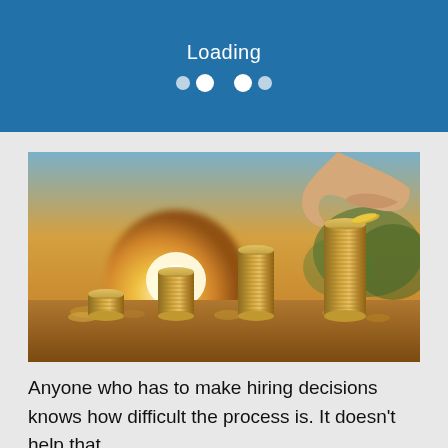Loading
[Figure (photo): A hand placing a coin on top of growing stacks of coins arranged in ascending height, backlit by golden sunset light, symbolizing savings and investment growth.]
Anyone who has to make hiring decisions knows how difficult the process is. It doesn't help that